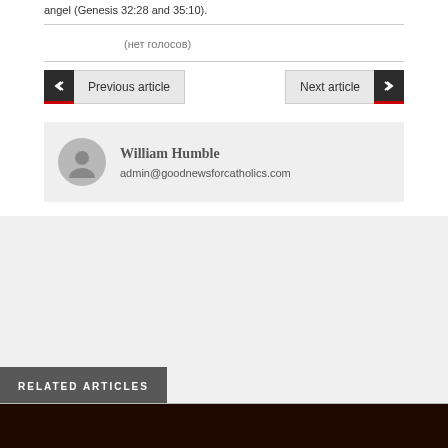angel (Genesis 32:28 and 35:10).
★★★★★ (нет голосов)
Previous article
Next article
William Humble
admin@goodnewsforcatholics.com
RELATED ARTICLES